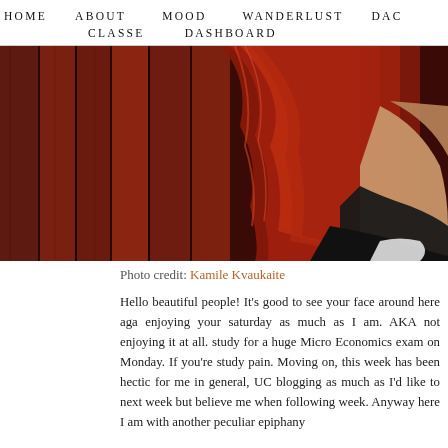HOME   ABOUT   MOOD   WANDERLUST   DAC   CLASSE   DASHBOARD
[Figure (photo): Close-up photo of a woman with long red hair leaning against dark red wooden planks, wearing a black outfit, holding a white object.]
Photo credit: Kamile Kvaukaite
Hello beautiful people! It's good to see your face around here aga enjoying your saturday as much as I am. AKA not enjoying it at all. study for a huge Micro Economics exam on Monday. If you're study pain. Moving on, this week has been hectic for me in general, UC blogging as much as I'd like to next week but believe me when following week. Anyway here I am with another peculiar epiphany